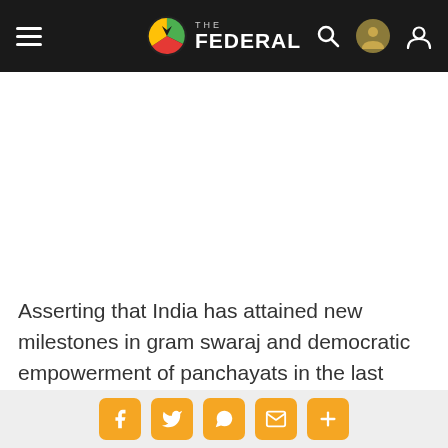THE FEDERAL
[Figure (other): Advertisement or blank white space area]
Asserting that India has attained new milestones in gram swaraj and democratic empowerment of panchayats in the last eight years, Prime Minister Narendra Modi has urged sarpanches to make efforts for
Social share buttons: Facebook, Twitter, WhatsApp, Email, More